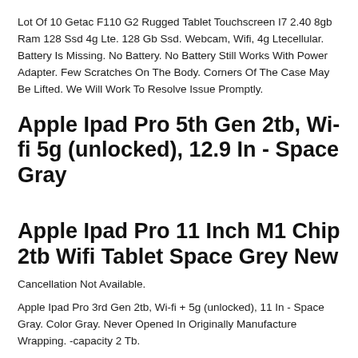Lot Of 10 Getac F110 G2 Rugged Tablet Touchscreen I7 2.40 8gb Ram 128 Ssd 4g Lte. 128 Gb Ssd. Webcam, Wifi, 4g Ltecellular. Battery Is Missing. No Battery. No Battery Still Works With Power Adapter. Few Scratches On The Body. Corners Of The Case May Be Lifted. We Will Work To Resolve Issue Promptly.
Apple Ipad Pro 5th Gen 2tb, Wi-fi 5g (unlocked), 12.9 In - Space Gray
Apple Ipad Pro 11 Inch M1 Chip 2tb Wifi Tablet Space Grey New
Cancellation Not Available.
Apple Ipad Pro 3rd Gen 2tb, Wi-fi + 5g (unlocked), 11 In - Space Gray. Color Gray. Never Opened In Originally Manufacture Wrapping. -capacity 2 Tb.
Microsoft Surface 3 1511 Windows 10 Pro 64-bit 4g Ram Lot Of 10 Tab...